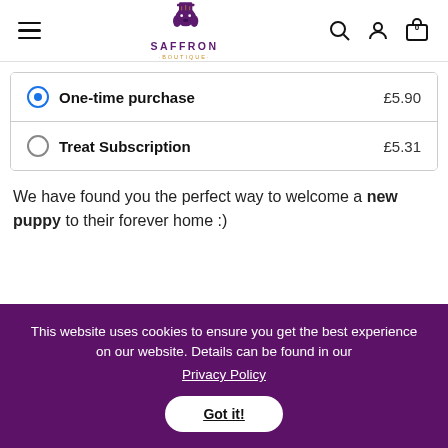Saffron Boutique — navigation header with logo, search, account, and cart icons
| Option | Price |
| --- | --- |
| One-time purchase | £5.90 |
| Treat Subscription | £5.31 |
We have found you the perfect way to welcome a new puppy to their forever home :)
This website uses cookies to ensure you get the best experience on our website. Details can be found in our Privacy Policy
Got it!